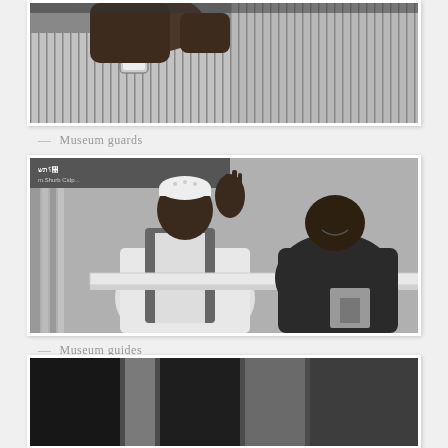[Figure (photo): Black and white photograph of museum guards, close-up showing striped shirts and a watch]
— Museum guards
[Figure (photo): Black and white photograph of two museum guides conversing, one wearing a white cap and robe gesturing with raised hand]
— Museum guides
[Figure (photo): Partial black and white photograph at bottom of page]